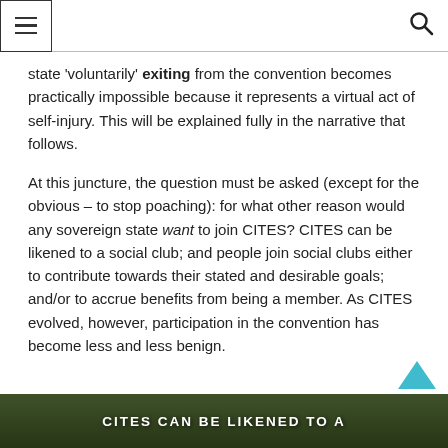☰  🔍
state 'voluntarily' exiting from the convention becomes practically impossible because it represents a virtual act of self-injury. This will be explained fully in the narrative that follows.
At this juncture, the question must be asked (except for the obvious – to stop poaching): for what other reason would any sovereign state want to join CITES? CITES can be likened to a social club; and people join social clubs either to contribute towards their stated and desirable goals; and/or to accrue benefits from being a member. As CITES evolved, however, participation in the convention has become less and less benign.
[Figure (photo): Green foliage background with white bold uppercase text overlay reading 'CITES CAN BE LIKENED TO A']